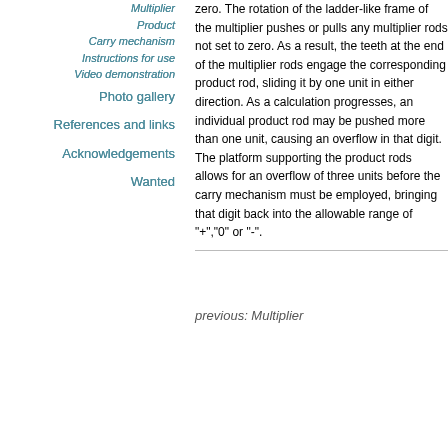Multiplier
Product
Carry mechanism
Instructions for use
Video demonstration
Photo gallery
References and links
Acknowledgements
Wanted
zero. The rotation of the ladder-like frame of the multiplier pushes or pulls any multiplier rods not set to zero. As a result, the teeth at the end of the multiplier rods engage the corresponding product rod, sliding it by one unit in either direction. As a calculation progresses, an individual product rod may be pushed more than one unit, causing an overflow in that digit. The platform supporting the product rods allows for an overflow of three units before the carry mechanism must be employed, bringing that digit back into the allowable range of "+","0" or "-".
previous: Multiplier